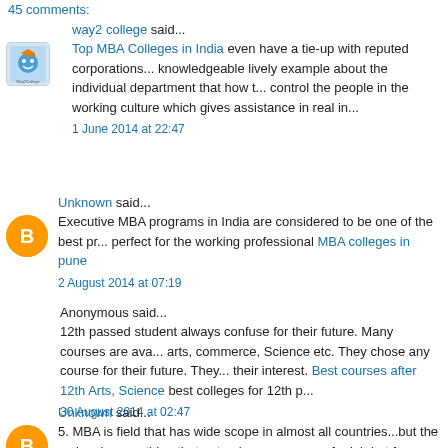Comments
way2 college said...
Top MBA Colleges in India even have a tie-up with reputed corporations... knowledgeable lively example about the individual department that how to control the people in the working culture which gives assistance in real in...
1 June 2014 at 22:47
Unknown said...
Executive MBA programs in India are considered to be one of the best pr... perfect for the working professional MBA colleges in pune
2 August 2014 at 07:19
Anonymous said...
12th passed student always confuse for their future. Many courses are ava... arts, commerce, Science etc. They chose any course for their future. They... their interest. Best courses after 12th Arts, Science best colleges for 12th p...
30 August 2014 at 02:47
Unknown said...
5. MBA is field that has wide scope in almost all countries...but the main... is something that not only prepares you for job but for future day to day m...